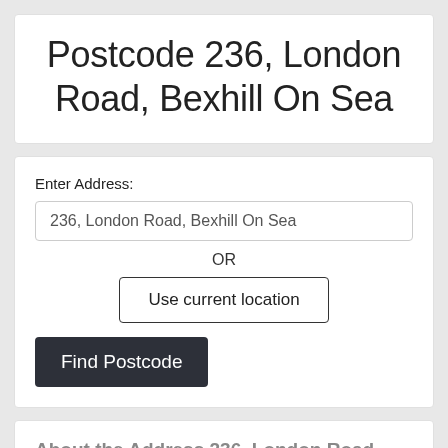Postcode 236, London Road, Bexhill On Sea
Enter Address:
236, London Road, Bexhill On Sea
OR
Use current location
Find Postcode
About the Address 236, London Road, Bexhill On Sea